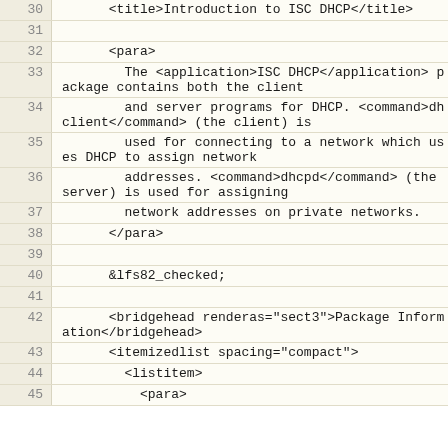Code listing lines 30-45 showing XML source for ISC DHCP documentation
30: <title>Introduction to ISC DHCP</title>
31: (blank)
32:     <para>
33:         The <application>ISC DHCP</application> package contains both the client
34:         and server programs for DHCP. <command>dhclient</command> (the client) is
35:         used for connecting to a network which uses DHCP to assign network
36:         addresses. <command>dhcpd</command> (the server) is used for assigning
37:         network addresses on private networks.
38:     </para>
39: (blank)
40:     &lfs82_checked;
41: (blank)
42:     <bridgehead renderas="sect3">Package Information</bridgehead>
43:     <itemizedlist spacing="compact">
44:         <listitem>
45:             <para>